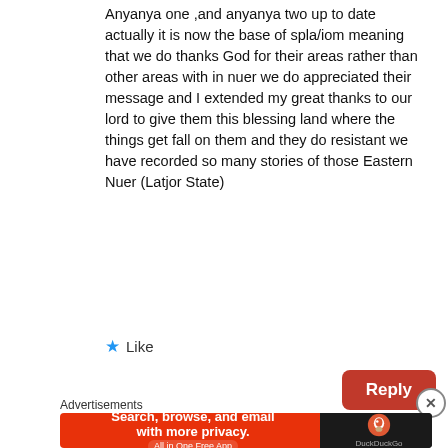Anyanya one ,and anyanya two up to date actually it is now the base of spla/iom meaning that we do thanks God for their areas rather than other areas with in nuer we do appreciated their message and I extended my great thanks to our lord to give them this blessing land where the things get fall on them and they do resistant we have recorded so many stories of those Eastern Nuer (Latjor State)
★ Like
Reply
Advertisements
[Figure (infographic): DuckDuckGo advertisement banner: 'Search, browse, and email with more privacy. All in One Free App' with DuckDuckGo logo on dark background]